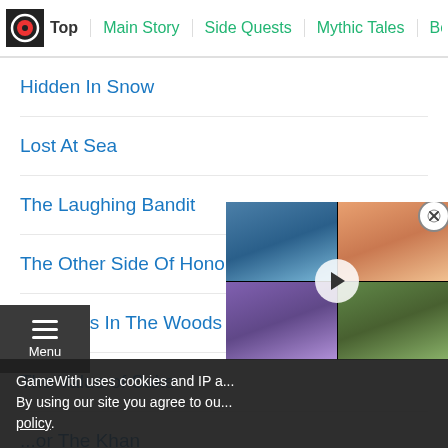Top | Main Story | Side Quests | Mythic Tales | Best Bu...
Hidden In Snow
Lost At Sea
The Laughing Bandit
The Other Side Of Honor
Whispers In The Woods
The Value of Sake
...or The Khan
The River Children
[Figure (screenshot): Video player overlay showing a game screenshot grid with play button and close button]
GameWith uses cookies and IP a... By using our site you agree to ou... policy.